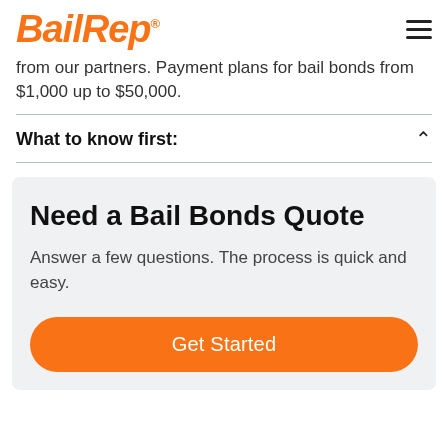BailRep®
from our partners. Payment plans for bail bonds from $1,000 up to $50,000.
What to know first:
Need a Bail Bonds Quote
Answer a few questions. The process is quick and easy.
Get Started